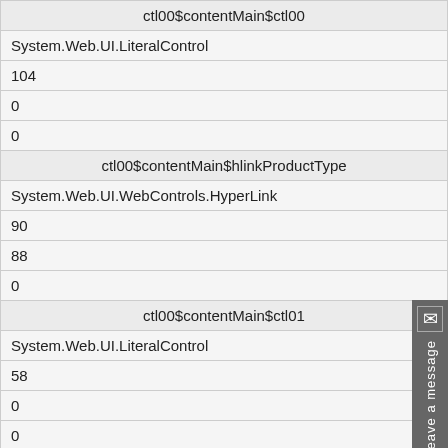| ctl00$contentMain$ctl00 |
| System.Web.UI.LiteralControl |
| 104 |
| 0 |
| 0 |
| ctl00$contentMain$hlinkProductType |
| System.Web.UI.WebControls.HyperLink |
| 90 |
| 88 |
| 0 |
| ctl00$contentMain$ctl01 |
| System.Web.UI.LiteralControl |
| 58 |
| 0 |
| 0 |
| ctl00$contentMain$hlinkSeries |